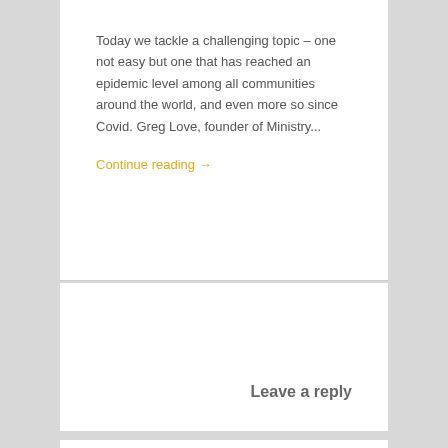Today we tackle a challenging topic – one not easy but one that has reached an epidemic level among all communities around the world, and even more so since Covid. Greg Love, founder of Ministry...
Continue reading →
Leave a reply